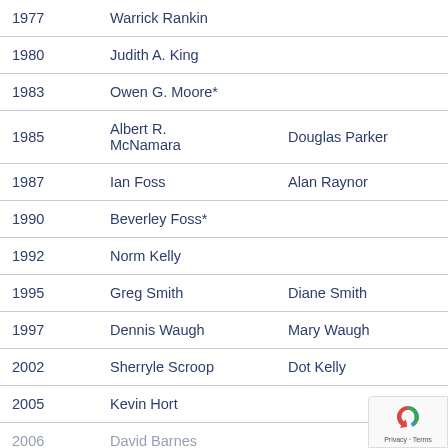| Year | Name 1 | Name 2 |
| --- | --- | --- |
| 1977 | Warrick Rankin |  |
| 1980 | Judith A. King |  |
| 1983 | Owen G. Moore* |  |
| 1985 | Albert R. McNamara | Douglas Parker |
| 1987 | Ian Foss | Alan Raynor |
| 1990 | Beverley Foss* |  |
| 1992 | Norm Kelly |  |
| 1995 | Greg Smith | Diane Smith |
| 1997 | Dennis Waugh | Mary Waugh |
| 2002 | Sherryle Scroop | Dot Kelly |
| 2005 | Kevin Hort |  |
| 2006 | David Barnes |  |